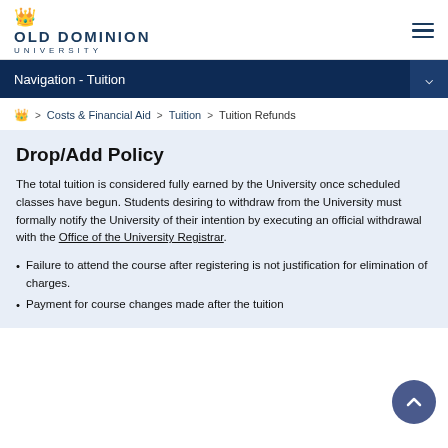OLD DOMINION UNIVERSITY
Navigation - Tuition
> Costs & Financial Aid > Tuition > Tuition Refunds
Drop/Add Policy
The total tuition is considered fully earned by the University once scheduled classes have begun. Students desiring to withdraw from the University must formally notify the University of their intention by executing an official withdrawal with the Office of the University Registrar.
Failure to attend the course after registering is not justification for elimination of charges.
Payment for course changes made after the tuition...